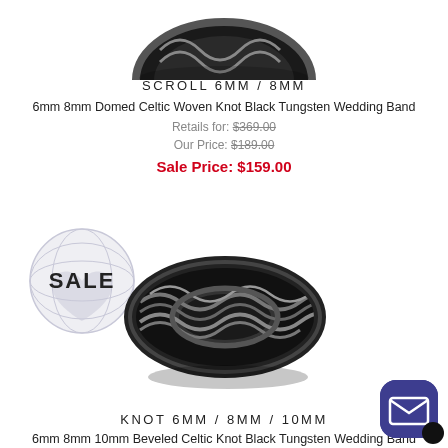[Figure (photo): Black tungsten ring with Celtic woven knot pattern, domed, partially cropped at top]
SCROLL 6MM / 8MM
6mm 8mm Domed Celtic Woven Knot Black Tungsten Wedding Band
Retails for: $369.00
Our Price: $189.00
Sale Price: $159.00
[Figure (photo): SALE badge with globe/heart watermark icon]
[Figure (photo): Black tungsten ring with Celtic knot pattern, beveled edges, flat band style]
KNOT 6MM / 8MM / 10MM
6mm 8mm 10mm Beveled Celtic Knot Black Tungsten Wedding Band
[Figure (other): Chat/email button icon, dark blue rounded square with envelope icon]